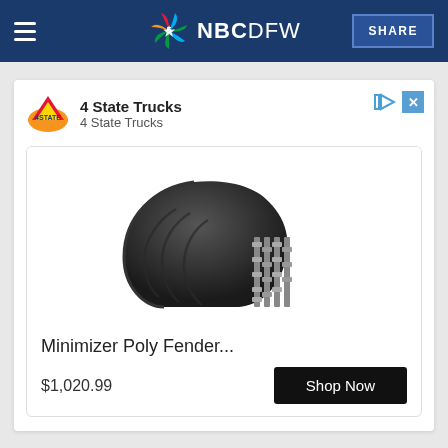NBC 5 NBCDFW | SHARE
[Figure (screenshot): Advertisement for 4 State Trucks featuring a Minimizer Poly Fender product image with price $1,020.99 and Shop Now button]
Taboola Feed
[Figure (photo): Bottom portion of image showing a light bulb being held by a hand, with wooden surface background]